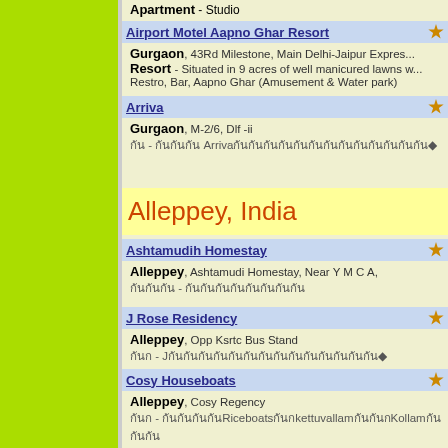Apartment - Studio
Airport Motel Aapno Ghar Resort - Gurgaon, 43Rd Milestone, Main Delhi-Jaipur Express. Resort - Situated in 9 acres of well manicured lawns w... Restro, Bar, Aapno Ghar (Amusement & Water park)
Arriva - Gurgaon, M-2/6, Dlf -ii
Alleppey, India
Ashtamudih Homestay - Alleppey, Ashtamudi Homestay, Near Y M C A,
J Rose Residency - Alleppey, Opp Ksrtc Bus Stand
Cosy Houseboats - Alleppey, Cosy Regency